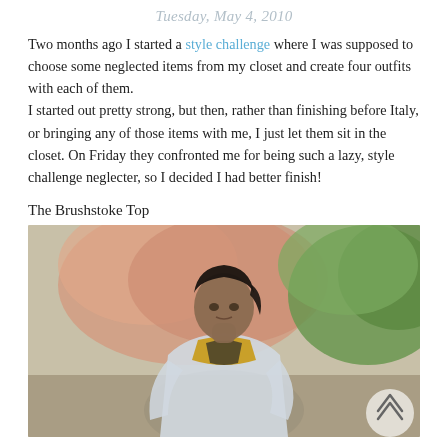Tuesday, May 4, 2010
Two months ago I started a style challenge where I was supposed to choose some neglected items from my closet and create four outfits with each of them.
I started out pretty strong, but then, rather than finishing before Italy, or bringing any of those items with me, I just let them sit in the closet. On Friday they confronted me for being such a lazy, style challenge neglecter, so I decided I had better finish!
The Brushstoke Top
[Figure (photo): Young woman with dark hair pulled back, wearing a light blue/white brushstroke patterned top with a gold/mustard scarf or collar detail. She stands outdoors against a background of pink flowering trees and green foliage. A semi-transparent circular scroll button is visible in the bottom right corner.]